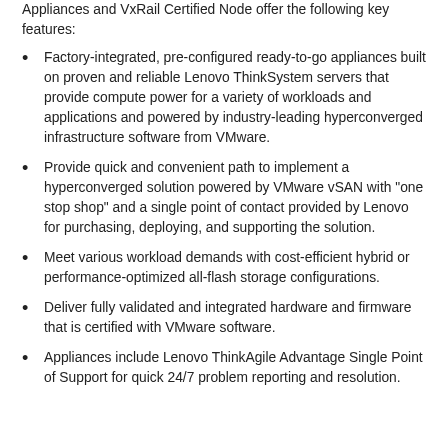Appliances and VxRail Certified Node offer the following key features:
Factory-integrated, pre-configured ready-to-go appliances built on proven and reliable Lenovo ThinkSystem servers that provide compute power for a variety of workloads and applications and powered by industry-leading hyperconverged infrastructure software from VMware.
Provide quick and convenient path to implement a hyperconverged solution powered by VMware vSAN with "one stop shop" and a single point of contact provided by Lenovo for purchasing, deploying, and supporting the solution.
Meet various workload demands with cost-efficient hybrid or performance-optimized all-flash storage configurations.
Deliver fully validated and integrated hardware and firmware that is certified with VMware software.
Appliances include Lenovo ThinkAgile Advantage Single Point of Support for quick 24/7 problem reporting and resolution.